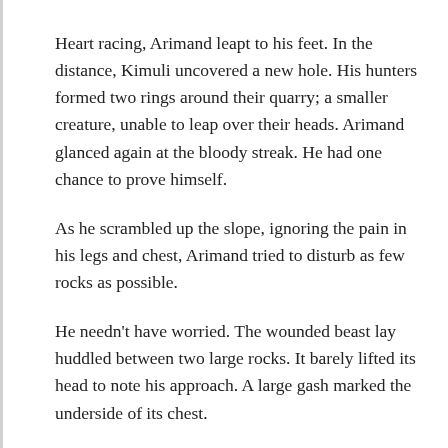Heart racing, Arimand leapt to his feet. In the distance, Kimuli uncovered a new hole. His hunters formed two rings around their quarry; a smaller creature, unable to leap over their heads. Arimand glanced again at the bloody streak. He had one chance to prove himself.
As he scrambled up the slope, ignoring the pain in his legs and chest, Arimand tried to disturb as few rocks as possible.
He needn’t have worried. The wounded beast lay huddled between two large rocks. It barely lifted its head to note his approach. A large gash marked the underside of its chest.